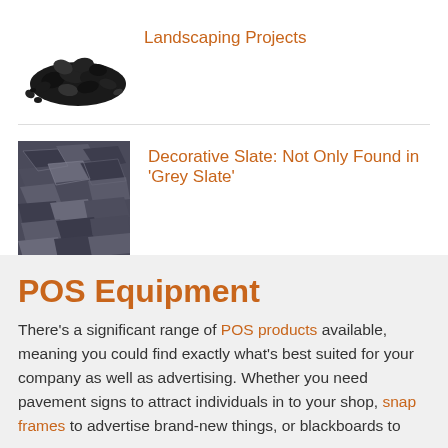[Figure (photo): Black gravel/aggregate stones for landscaping]
Landscaping Projects
[Figure (photo): Dark grey/blue decorative slate stones]
Decorative Slate: Not Only Found in 'Grey Slate'
POS Equipment
There's a significant range of POS products available, meaning you could find exactly what's best suited for your company as well as advertising. Whether you need pavement signs to attract individuals in to your shop, snap frames to advertise brand-new things, or blackboards to